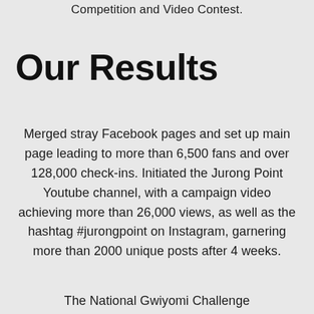Competition and Video Contest.
Our Results
Merged stray Facebook pages and set up main page leading to more than 6,500 fans and over 128,000 check-ins. Initiated the Jurong Point Youtube channel, with a campaign video achieving more than 26,000 views, as well as the hashtag #jurongpoint on Instagram, garnering more than 2000 unique posts after 4 weeks.
The National Gwiyomi Challenge